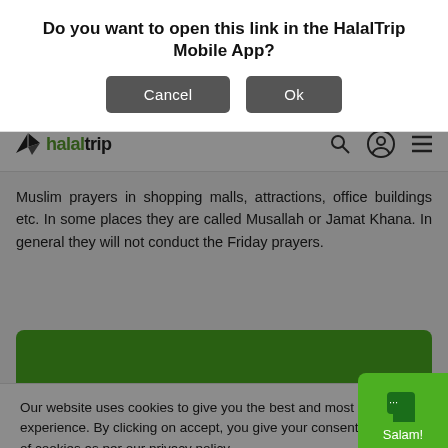Do you want to open this link in the HalalTrip Mobile App?
Cancel  Ok
[Figure (logo): HalalTrip logo with paper plane icon, search icon, user icon, and hamburger menu]
Muslim prayers in shopping malls, attractions, office buildings etc. In some places they are called Musallah or Jamat Khana. In general they will not conduct the Friday prayers.
[Figure (other): Green rectangular banner]
Our website uses cookies to give you the best and most relevant experience. By clicking on accept, you give your consent to the use of cookies as per our privacy policy.
Accept
[Figure (other): Green chat button with Salam! label]